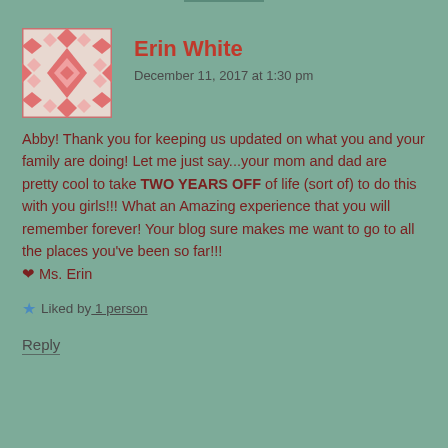[Figure (illustration): Pixelated avatar image with pink/red geometric quilt-like pattern on light background]
Erin White
December 11, 2017 at 1:30 pm
Abby! Thank you for keeping us updated on what you and your family are doing! Let me just say...your mom and dad are pretty cool to take TWO YEARS OFF of life (sort of) to do this with you girls!!! What an Amazing experience that you will remember forever! Your blog sure makes me want to go to all the places you've been so far!!!
❤ Ms. Erin
★ Liked by 1 person
Reply